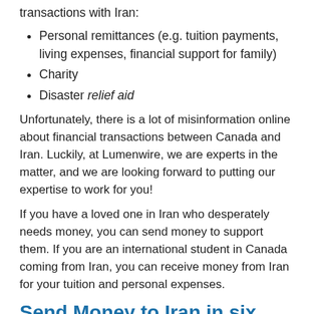transactions with Iran:
Personal remittances (e.g. tuition payments, living expenses, financial support for family)
Charity
Disaster relief aid
Unfortunately, there is a lot of misinformation online about financial transactions between Canada and Iran. Luckily, at Lumenwire, we are experts in the matter, and we are looking forward to putting our expertise to work for you!
If you have a loved one in Iran who desperately needs money, you can send money to support them. If you are an international student in Canada coming from Iran, you can receive money from Iran for your tuition and personal expenses.
Send Money to Iran in six steps?
Register at Lumenwire online for free! You will have